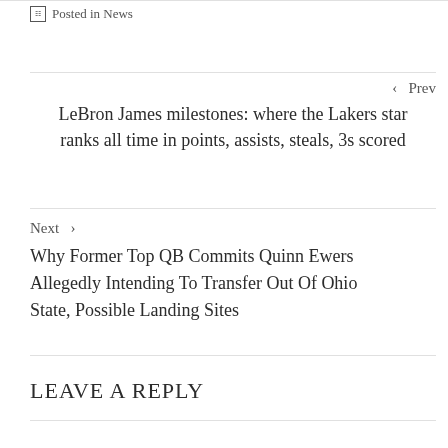Posted in News
‹  Prev
LeBron James milestones: where the Lakers star ranks all time in points, assists, steals, 3s scored
Next  ›
Why Former Top QB Commits Quinn Ewers Allegedly Intending To Transfer Out Of Ohio State, Possible Landing Sites
LEAVE A REPLY